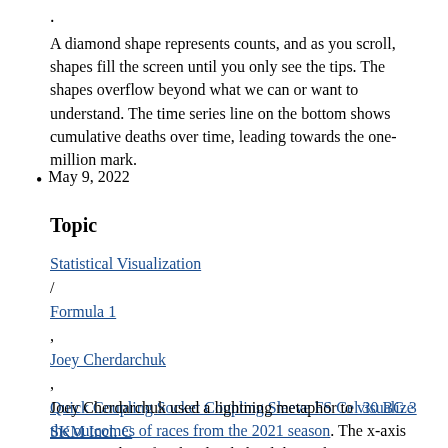.
A diamond shape represents counts, and as you scroll, shapes fill the screen until you only see the tips. The shapes overflow beyond what we can or want to understand. The time series line on the bottom shows cumulative deaths over time, leading towards the one-million mark.
May 9, 2022
Topic
Statistical Visualization / Formula 1 , Joey Cherdarchuk , Quick Coupling Socket Coupling Sleeve FS Cel 30 BG 3 SKM Incl. C
Joey Cherdarchuk used a lightning metaphor to visualize the outcomes of races from the 2021 season. The x-axis represents how far ahead or behind the each racer is compared to the average. The y-axis represents laps.